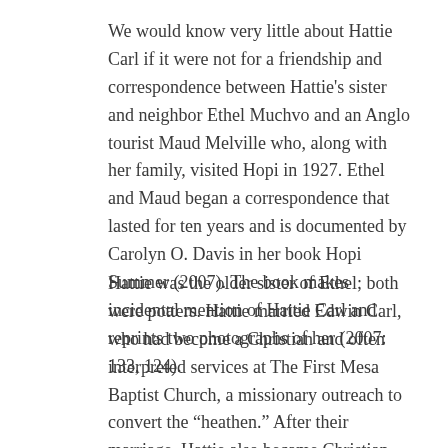We would know very little about Hattie Carl if it were not for a friendship and correspondence between Hattie's sister and neighbor Ethel Muchvo and an Anglo tourist Maud Melville who, along with her family, visited Hopi in 1927. Ethel and Maud began a correspondence that lasted for ten years and is documented by Carolyn O. Davis in her book Hopi Summer (2007). The book makes incidental mention of Hattie Carl and reprints two photographs of her (2007: 133, 124).
Hattie was the older sister of Ethel; both were potters. Hattie married Edwin Carl, who had become a Christian and often interpreted services at The First Mesa Baptist Church, a missionary outreach to convert the “heathen.” After their marriage, Hattie also became Christian. Hopi life was very difficult during the 1930s and the letters from Hopi make it clear that Ethel and Hattie’s families were often close to starvation (Davis,